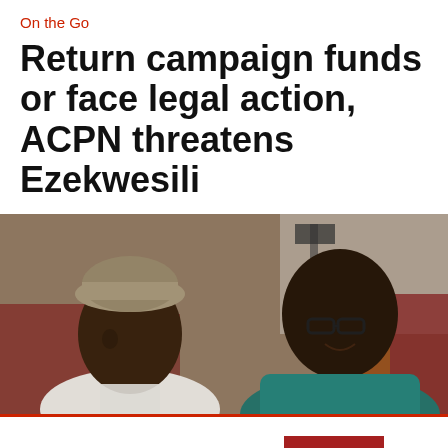On the Go
Return campaign funds or face legal action, ACPN threatens Ezekwesili
[Figure (photo): Two people in conversation at an event — a man in a traditional cap on the left and a woman wearing glasses on the right, with chairs and camera equipment in the background.]
This website uses cookies.
Accept